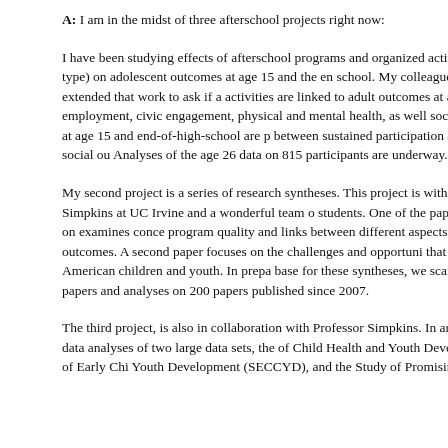A: I am in the midst of three afterschool projects right now:
I have been studying effects of afterschool programs and organized activities (quality, duration, type) on adolescent outcomes at age 15 and the end of high school. My colleagues and I have now extended that work to ask if afterschool activities are linked to adult outcomes at age 26, including education, employment, civic engagement, physical and mental health, as well as social relationships. Results at age 15 and end-of-high-school are positive between sustained participation and positive academic and social outcomes. Analyses of the age 26 data on 815 participants are underway.
My second project is a series of research syntheses. This project is a collaboration with Professor Sandra Simpkins at UC Irvine and a wonderful team of graduate students. One of the papers that we are working on examines conceptions of program quality and links between different aspects of program quality and outcomes. A second paper focuses on the challenges and opportunities of programs that serve Latino and African-American children and youth. In preparation for the base for these syntheses, we scanned more than 2000 papers and are conducting analyses on 200 papers published since 2007.
The third project, is also in collaboration with Professor Simpkins. In this project, we are conducting secondary data analyses of two large data sets, the National Institute of Child Health and Youth Development (NICHD), Study of Early Child Care and Youth Development (SECCYD), and the Study of Promising Afterschool...